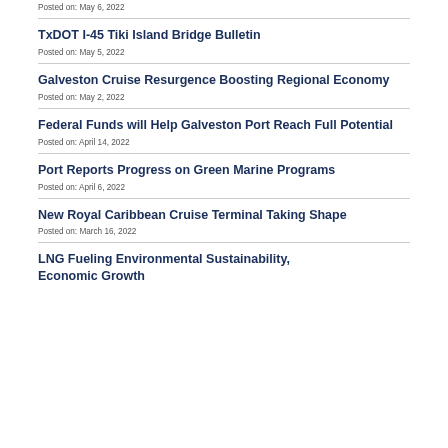Posted on: May 6, 2022
TxDOT I-45 Tiki Island Bridge Bulletin
Posted on: May 5, 2022
Galveston Cruise Resurgence Boosting Regional Economy
Posted on: May 2, 2022
Federal Funds will Help Galveston Port Reach Full Potential
Posted on: April 14, 2022
Port Reports Progress on Green Marine Programs
Posted on: April 6, 2022
New Royal Caribbean Cruise Terminal Taking Shape
Posted on: March 16, 2022
LNG Fueling Environmental Sustainability, Economic Growth